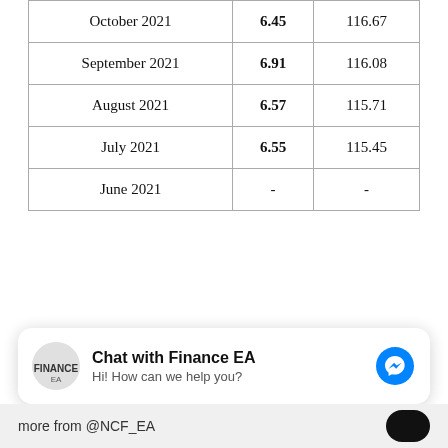| October 2021 | 6.45 | 116.67 |
| September 2021 | 6.91 | 116.08 |
| August 2021 | 6.57 | 115.71 |
| July 2021 | 6.55 | 115.45 |
| June 2021 | - | - |
Chat with Finance EA
Hi! How can we help you?